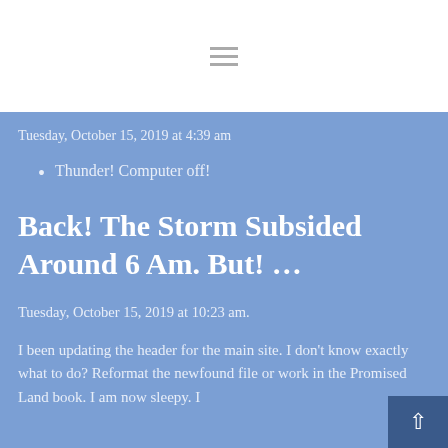Tuesday, October 15, 2019 at 4:39 am
Thunder! Computer off!
Back! The Storm Subsided Around 6 Am. But! ...
Tuesday, October 15, 2019 at 10:23 am.
I been updating the header for the main site. I don't know exactly what to do? Reformat the newfound file or work in the Promised Land book. I am now sleepy. I